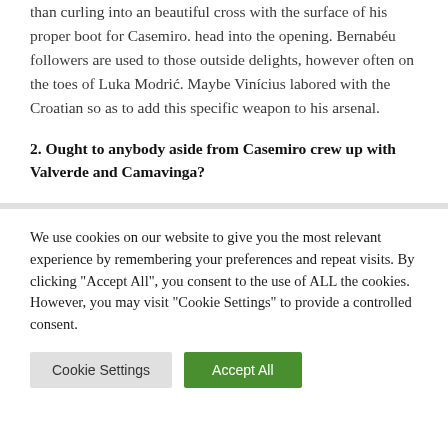than curling into an beautiful cross with the surface of his proper boot for Casemiro. head into the opening. Bernabéu followers are used to those outside delights, however often on the toes of Luka Modrić. Maybe Vinícius labored with the Croatian so as to add this specific weapon to his arsenal.
2. Ought to anybody aside from Casemiro crew up with Valverde and Camavinga?
We use cookies on our website to give you the most relevant experience by remembering your preferences and repeat visits. By clicking "Accept All", you consent to the use of ALL the cookies. However, you may visit "Cookie Settings" to provide a controlled consent.